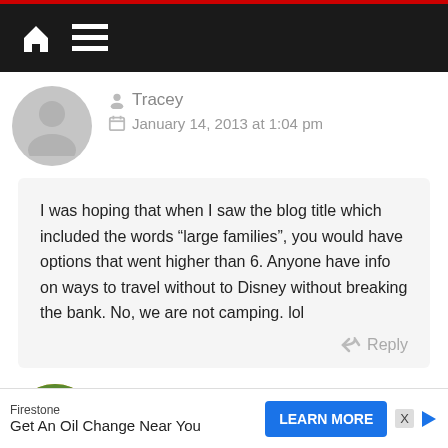Navigation bar with home and menu icons
Tracey
January 14, 2013 at 1:04 pm
I was hoping that when I saw the blog title which included the words “large families”, you would have options that went higher than 6. Anyone have info on ways to travel without to Disney without breaking the bank. No, we are not camping. lol
Reply
Tammy Whiting Post author
January 14, 2013 at 1:40 pm
Firestone
Get An Oil Change Near You
LEARN MORE